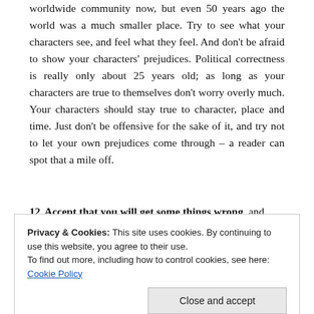worldwide community now, but even 50 years ago the world was a much smaller place. Try to see what your characters see, and feel what they feel. And don't be afraid to show your characters' prejudices. Political correctness is really only about 25 years old; as long as your characters are true to themselves don't worry overly much. Your characters should stay true to character, place and time. Just don't be offensive for the sake of it, and try not to let your own prejudices come through – a reader can spot that a mile off.
12  Accept that you will get some things wrong, and move on.
Privacy & Cookies: This site uses cookies. By continuing to use this website, you agree to their use. To find out more, including how to control cookies, see here: Cookie Policy